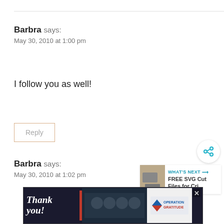Barbra says: May 30, 2010 at 1:00 pm
I follow you as well!
Reply
Barbra says: May 30, 2010 at 1:02 pm
[Figure (screenshot): Share button (circular white button with share icon)]
[Figure (infographic): WHAT'S NEXT panel: FREE SVG Cut Files for Cri...]
[Figure (photo): Advertisement banner: Thank you! Operation Gratitude ad with firefighters]